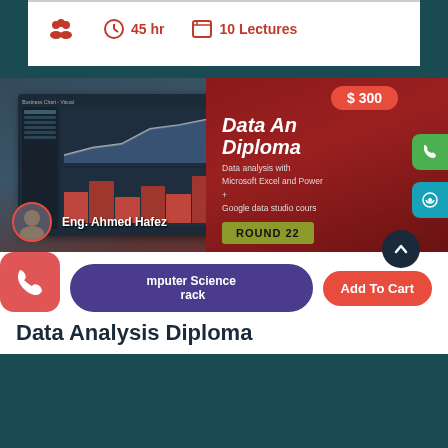45 hr   10 Lectures
[Figure (screenshot): Course banner showing a data analysis dashboard on the left, and course info on the right: Data Analysis Diploma, $300, Data analysis with Microsoft Excel and Power BI + Google data studio course, ROUND 22, instructor Eng. Ahmed Hafez]
Computer Science Track
Add To Cart
Data Analysis Diploma